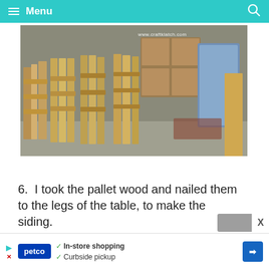Menu
[Figure (photo): Wooden pallets leaning against a wall in a garage or workshop space. Several pallet boards are stacked vertically. In the background are cabinets, various items, and a doorway. Watermark reads www.craftklatch.com]
6.  I took the pallet wood and nailed them to the legs of the table, to make the siding.
[Figure (infographic): Petco advertisement banner with text: In-store shopping, Curbside pickup]